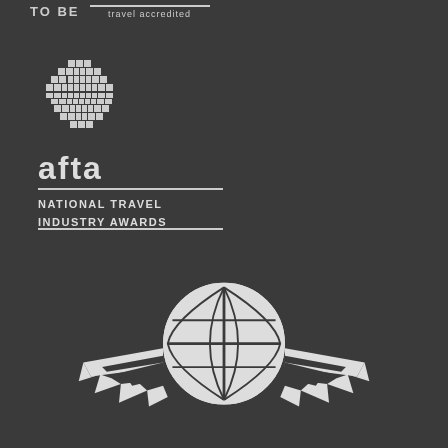TO BE  travel accredited
[Figure (logo): AFTA globe logo - pixelated/mosaic globe icon in white on dark background]
afta
NATIONAL TRAVEL INDUSTRY AWARDS
[Figure (logo): Globe with wings logo - white globe with grid lines flanked by stylized wings on dark background]